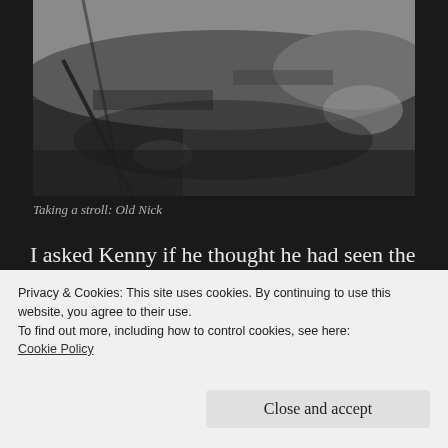[Figure (photo): Black and white photograph of rocky outcrop with large stones and possibly fallen trees, viewed from below]
Taking a stroll: Old Nick
I asked Kenny if he thought he had seen the Devil on that fateful night but he laughed and said “if it was Big D himself, I would have expected something a little more. It was probably a minion of some kind.”
Privacy & Cookies: This site uses cookies. By continuing to use this website, you agree to their use.
To find out more, including how to control cookies, see here:
Cookie Policy
Close and accept